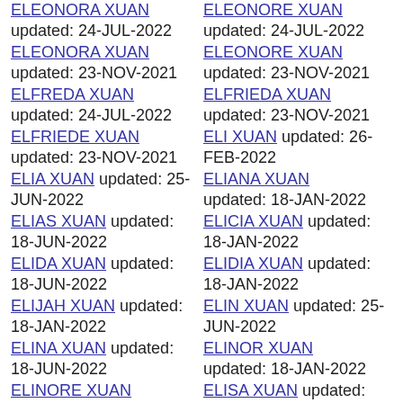ELEONORA XUAN updated: 24-JUL-2022
ELEONORE XUAN updated: 24-JUL-2022
ELEONORA XUAN updated: 23-NOV-2021
ELEONORE XUAN updated: 23-NOV-2021
ELFREDA XUAN updated: 24-JUL-2022
ELFRIEDA XUAN updated: 23-NOV-2021
ELFRIEDE XUAN updated: 23-NOV-2021
ELI XUAN updated: 26-FEB-2022
ELIA XUAN updated: 25-JUN-2022
ELIANA XUAN updated: 18-JAN-2022
ELIAS XUAN updated: 18-JUN-2022
ELICIA XUAN updated: 18-JAN-2022
ELIDA XUAN updated: 18-JUN-2022
ELIDIA XUAN updated: 18-JAN-2022
ELIJAH XUAN updated: 18-JAN-2022
ELIN XUAN updated: 25-JUN-2022
ELINA XUAN updated: 18-JUN-2022
ELINOR XUAN updated: 18-JAN-2022
ELINORE XUAN updated: 24-JUL-2022
ELISA XUAN updated: 18-JUN-2022